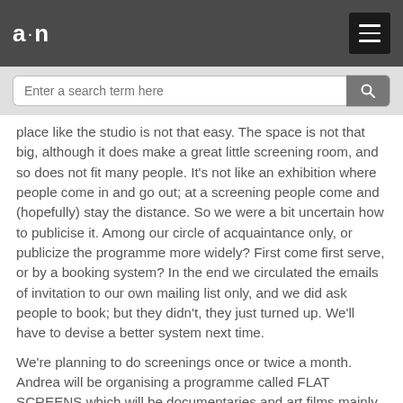a·n [logo] with hamburger menu button
Enter a search term here [search box]
place like the studio is not that easy. The space is not that big, although it does make a great little screening room, and so does not fit many people. It's not like an exhibition where people come in and go out; at a screening people come and (hopefully) stay the distance. So we were a bit uncertain how to publicise it. Among our circle of acquaintance only, or publicize the programme more widely? First come first serve, or by a booking system? In the end we circulated the emails of invitation to our own mailing list only, and we did ask people to book; but they didn't, they just turned up. We'll have to devise a better system next time.
We're planning to do screenings once or twice a month. Andrea will be organising a programme called FLAT SCREENS which will be documentaries and art films mainly focusing on subjects about housing, locality and society. This will start in April for a year. As well as helping with that, I'm going to do more irregular screenings. The